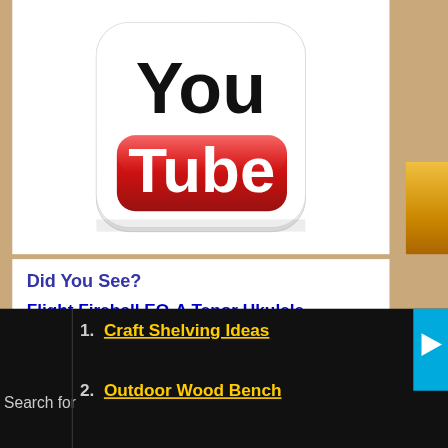[Figure (logo): YouTube logo — rounded square with 'You' in black text and 'Tube' on a red rounded rectangle badge]
Did You See?
Flight Fireball EQ-A Tenor Ukulele - REVIEW
It sometimes seems like I need to calm down with
Search for
1. Craft Shelving Ideas
2. Outdoor Wood Bench